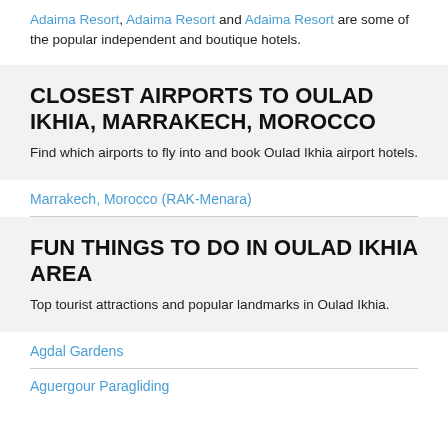Adaima Resort, Adaima Resort and Adaima Resort are some of the popular independent and boutique hotels.
CLOSEST AIRPORTS TO OULAD IKHIA, MARRAKECH, MOROCCO
Find which airports to fly into and book Oulad Ikhia airport hotels.
Marrakech, Morocco (RAK-Menara)
FUN THINGS TO DO IN OULAD IKHIA AREA
Top tourist attractions and popular landmarks in Oulad Ikhia.
Agdal Gardens
Aguergour Paragliding